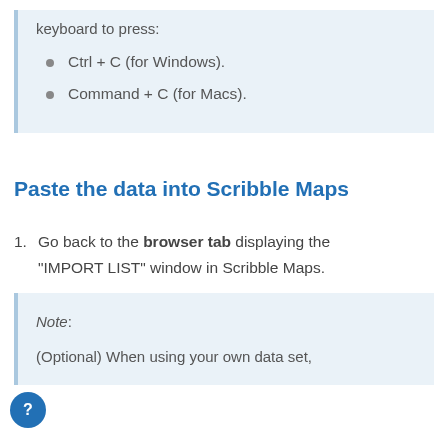keyboard to press:
Ctrl + C (for Windows).
Command + C (for Macs).
Paste the data into Scribble Maps
Go back to the browser tab displaying the "IMPORT LIST" window in Scribble Maps.
Note:
(Optional) When using your own data set,